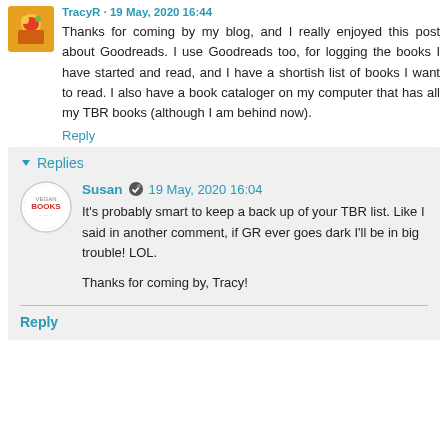TracyR · 19 May, 2020 16:44
Thanks for coming by my blog, and I really enjoyed this post about Goodreads. I use Goodreads too, for logging the books I have started and read, and I have a shortish list of books I want to read. I also have a book cataloger on my computer that has all my TBR books (although I am behind now).
Reply
▾ Replies
Susan · 19 May, 2020 16:04
It's probably smart to keep a back up of your TBR list. Like I said in another comment, if GR ever goes dark I'll be in big trouble! LOL.

Thanks for coming by, Tracy!
Reply